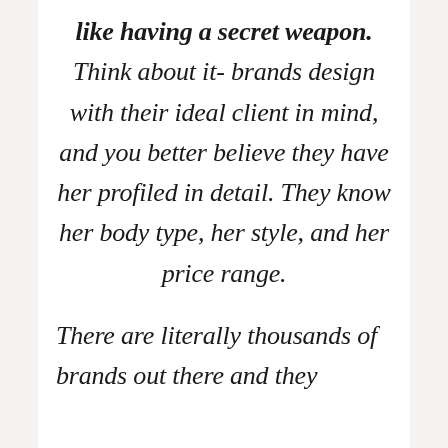like having a secret weapon. Think about it- brands design with their ideal client in mind, and you better believe they have her profiled in detail. They know her body type, her style, and her price range.

There are literally thousands of brands out there and they